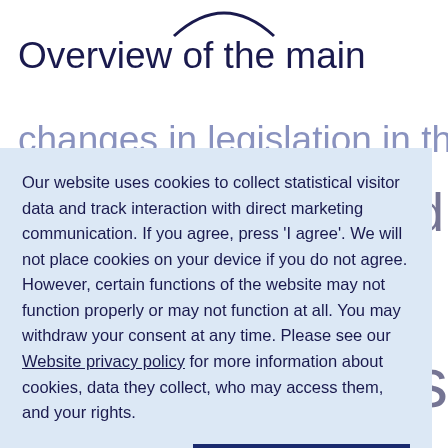[Figure (logo): Partial arc/logo graphic at top center of page]
Overview of the main
changes in legislation in the
Our website uses cookies to collect statistical visitor data and track interaction with direct marketing communication. If you agree, press ‘I agree’. We will not place cookies on your device if you do not agree. However, certain functions of the website may not function properly or may not function at all. You may withdraw your consent at any time. Please see our Website privacy policy for more information about cookies, data they collect, who may access them, and your rights.
Decline
I agree